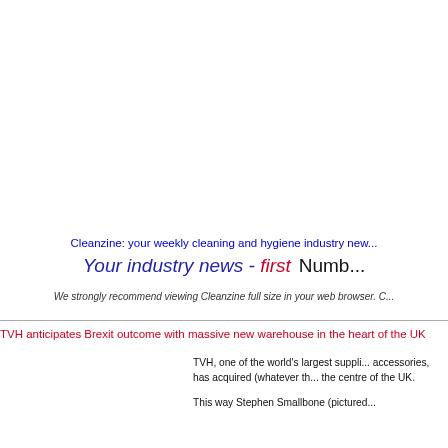Cleanzine: your weekly cleaning and hygiene industry new...
Your industry news - first    Numb...
We strongly recommend viewing Cleanzine full size in your web browser. C...
TVH anticipates Brexit outcome with massive new warehouse in the heart of the UK
TVH, one of the world's largest suppli... accessories, has acquired (whatever th... the centre of the UK.
This way Stephen Smallbone (pictured...